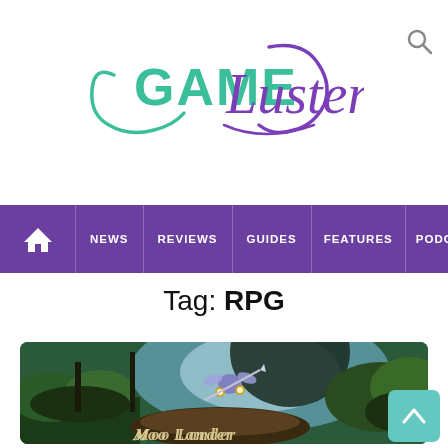[Figure (logo): GameLuster logo with teal and purple stylized text]
NEWS | REVIEWS | GUIDES | FEATURES | PODCASTS | VIDE...
Tag: RPG
[Figure (screenshot): Moo Lander game promotional art showing a fantasy forest scene with a creature character leaping, with 'Moo Lander' text overlay]